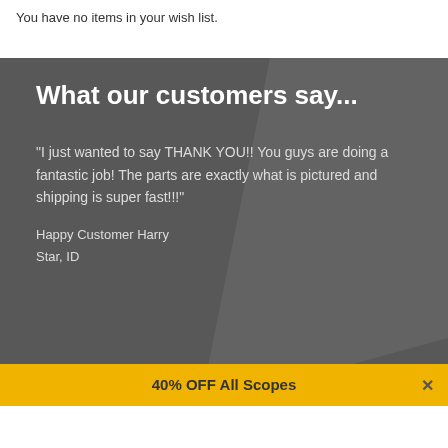You have no items in your wish list.
What our customers say...
"I just wanted to say THANK YOU!! You guys are doing a fantastic job! The parts are exactly what is pictured and shipping is super fast!!!"
Happy Customer Harry
Star, ID
40% OFF All Scopes